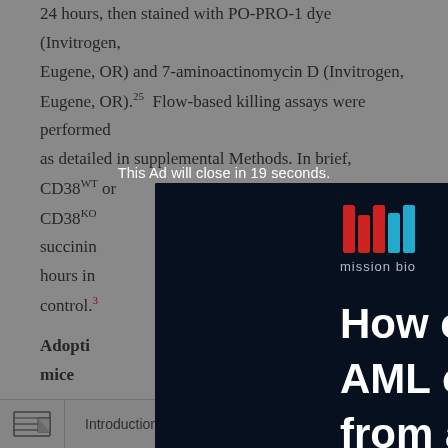24 hours, then stained with PO-PRO-1 dye (Invitrogen, Eugene, OR) and 7-aminoactinomycin D (Invitrogen, Eugene, OR).25  Flow-based killing assays were performed as detailed in supplemental Methods. In brief, CD38WT or CD38KO … succinin … 24 hours in … ent as control.3
Adoptive … NSG mice
Ex vivo e … m the same ind … ed with irradiated CSTX002 for 1 week. Then 10° NK cells from each group were suspended in Hank's balanced salt solution
[Figure (screenshot): Advertisement overlay from Mission Bio: dark background with cell microscopy image, Mission Bio logo, text 'Ask the questions you could never ask before' and large heading 'How can I predict AML outcomes from a single cell?']
This Ad will close in 19 seconds.
Introduction